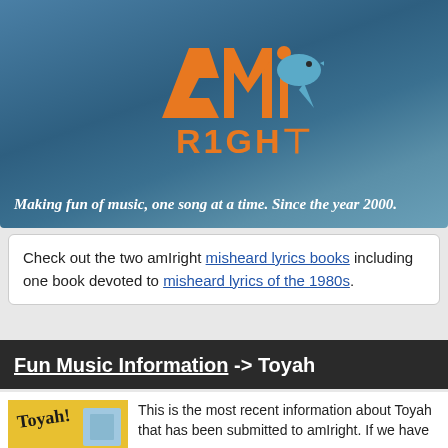[Figure (logo): amIright logo — orange stylized letters AMI with a blue bird/quill, and the word RIGHT in orange below. Background is a blue-grey textured banner.]
Making fun of music, one song at a time. Since the year 2000.
Check out the two amIright misheard lyrics books including one book devoted to misheard lyrics of the 1980s.
Fun Music Information -> Toyah
[Figure (photo): Toyah album/promotional image with yellow background and 'Toyah!' text in black handwriting style]
This is the most recent information about Toyah that has been submitted to amIright. If we have more